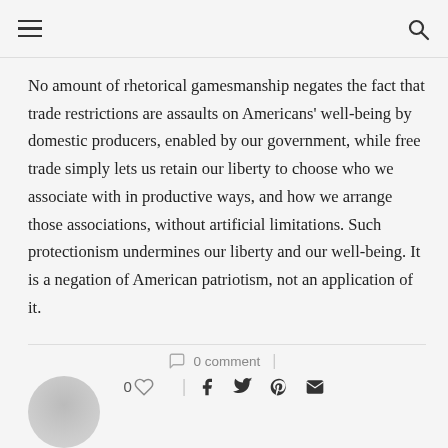≡  🔍
No amount of rhetorical gamesmanship negates the fact that trade restrictions are assaults on Americans' well-being by domestic producers, enabled by our government, while free trade simply lets us retain our liberty to choose who we associate with in productive ways, and how we arrange those associations, without artificial limitations. Such protectionism undermines our liberty and our well-being. It is a negation of American patriotism, not an application of it.
0 comment  |  0 ♡  |  f  𝕏  𝕡  ✉